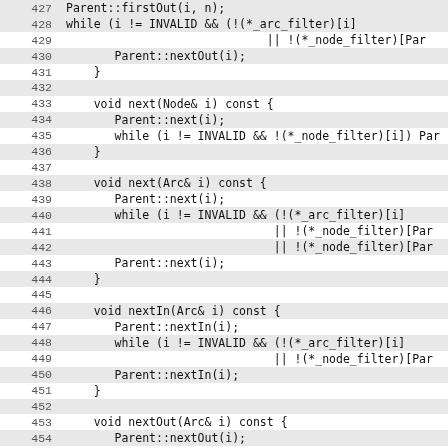[Figure (screenshot): Source code listing showing C++ methods for graph filtering, lines 427-458, with alternating highlighted rows and line numbers on the left.]